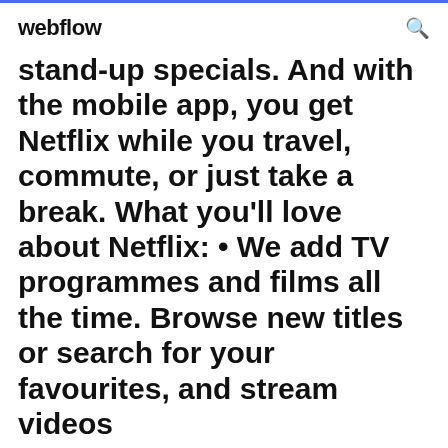webflow
stand-up specials. And with the mobile app, you get Netflix while you travel, commute, or just take a break. What you'll love about Netflix: • We add TV programmes and films all the time. Browse new titles or search for your favourites, and stream videos
Here's how to download and watch videos from Netflix, Amazon, Hulu, Disney+ In the olden days of a few years ago, downloaded movies and TV shows were and you can download them if you use Apple's TV app on iPhone, iPad, or Mac. Today we list the best 3 ways which help you